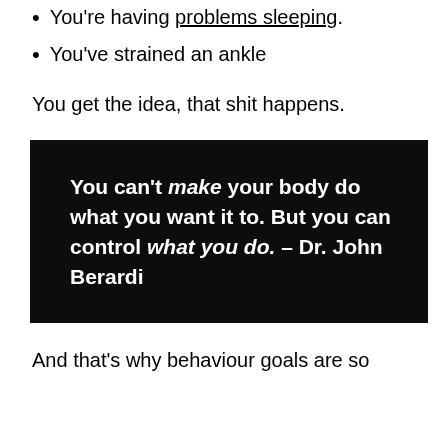You're having problems sleeping.
You've strained an ankle
You get the idea, that shit happens.
[Figure (other): Black box containing a quote: You can't make your body do what you want it to. But you can control what you do. – Dr. John Berardi]
And that's why behaviour goals are so